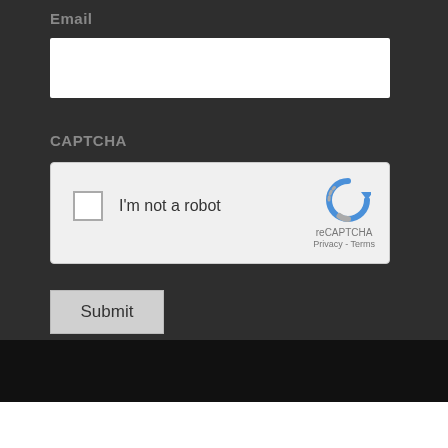Email
[Figure (screenshot): Empty email input text field with white background]
CAPTCHA
[Figure (screenshot): reCAPTCHA widget with checkbox labeled 'I'm not a robot' and reCAPTCHA logo with Privacy - Terms text]
Submit
© 2022 The Education Incubator. All Rights
Tapiki   Our privacy policy